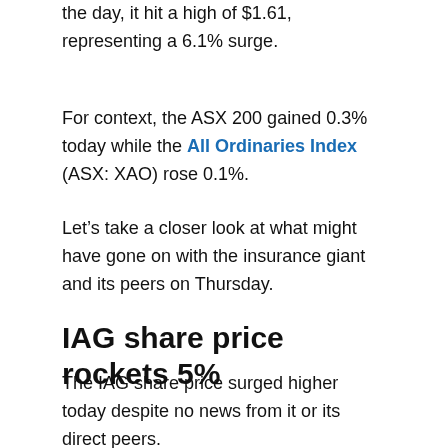the day, it hit a high of $1.61, representing a 6.1% surge.
For context, the ASX 200 gained 0.3% today while the All Ordinaries Index (ASX: XAO) rose 0.1%.
Let’s take a closer look at what might have gone on with the insurance giant and its peers on Thursday.
IAG share price rockets 5%
The IAG share price surged higher today despite no news from it or its direct peers.